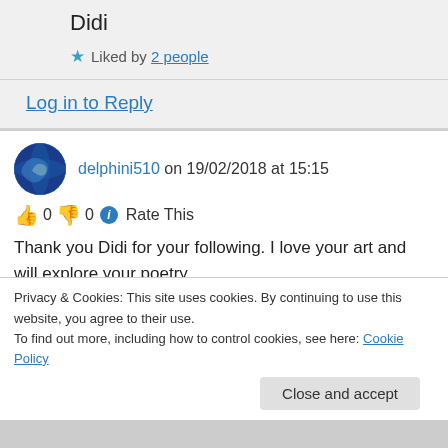Didi
★ Liked by 2 people
Log in to Reply
delphini510 on 19/02/2018 at 15:15
👍 0 👎 0 ℹ Rate This
Thank you Didi for your following. I love your art and will explore your poetry.
Privacy & Cookies: This site uses cookies. By continuing to use this website, you agree to their use. To find out more, including how to control cookies, see here: Cookie Policy
Close and accept